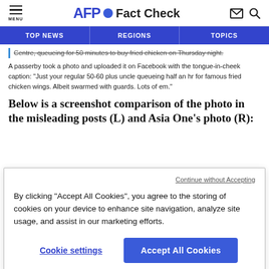AFP Fact Check
TOP NEWS | REGIONS | TOPICS
Centre, queueing for 50 minutes to buy fried chicken on Thursday night.
A passerby took a photo and uploaded it on Facebook with the tongue-in-cheek caption: "Just your regular 50-60 plus uncle queueing half an hr for famous fried chicken wings. Albeit swarmed with guards. Lots of em."
Below is a screenshot comparison of the photo in the misleading posts (L) and Asia One's photo (R):
Continue without Accepting
By clicking “Accept All Cookies”, you agree to the storing of cookies on your device to enhance site navigation, analyze site usage, and assist in our marketing efforts.
Cookie settings
Accept All Cookies